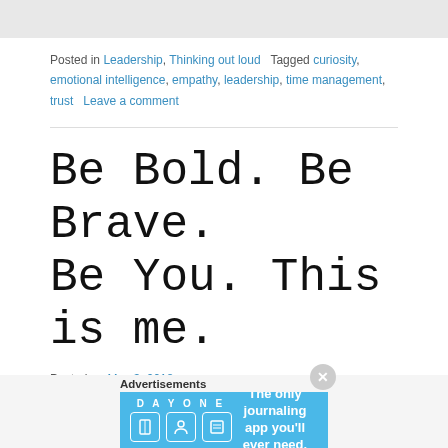Posted in Leadership, Thinking out loud   Tagged curiosity, emotional intelligence, empathy, leadership, time management, trust   Leave a comment
Be Bold. Be Brave. Be You. This is me.
Posted on May 3, 2018
[Figure (photo): Dark horizontal banner image fading from black on the left to golden/brown on the right with a bright light spot in the center-right area.]
Advertisements
[Figure (other): Day One app advertisement banner: blue background with 'DAY ONE' text and app icons on the left, 'The only journaling app you'll ever need.' on the right.]